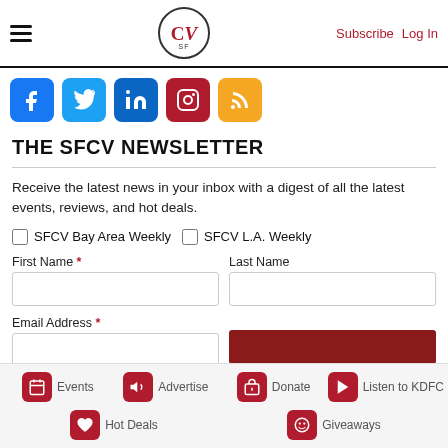SFCV — Subscribe  Log In
[Figure (illustration): Social media icons row: Facebook, Twitter, LinkedIn, Instagram, RSS]
THE SFCV NEWSLETTER
Receive the latest news in your inbox with a digest of all the latest events, reviews, and hot deals.
SFCV Bay Area Weekly  [checkbox]    SFCV L.A. Weekly  [checkbox]
First Name *
Last Name
Email Address *
Events  Advertise  Donate  Listen to KDFC  Hot Deals  Giveaways